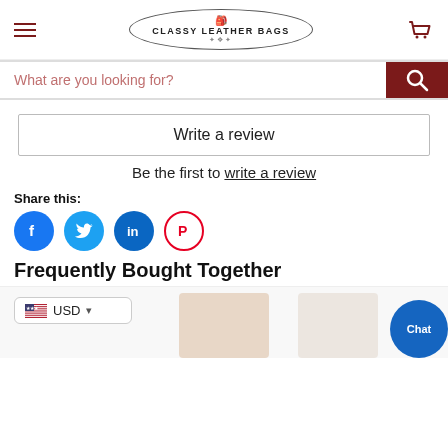Classy Leather Bags
[Figure (screenshot): Search bar with placeholder 'What are you looking for?' and dark red search button with magnifier icon]
[Figure (screenshot): Write a review button]
Be the first to write a review
Share this:
[Figure (illustration): Social media share icons: Facebook (blue circle with F), Twitter (blue circle with bird), LinkedIn (blue circle with in), Pinterest (white circle with red P)]
Frequently Bought Together
[Figure (photo): Product images strip at the bottom showing leather items, with USD currency selector and chat bubble overlay]